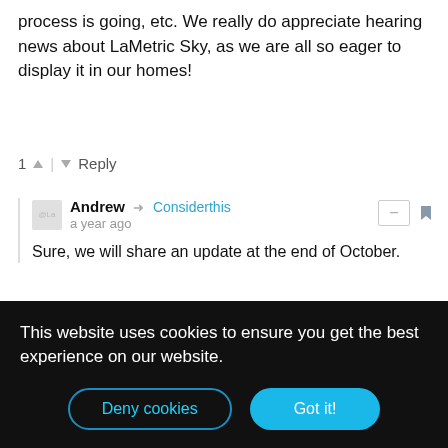process is going, etc. We really do appreciate hearing news about LaMetric Sky, as we are all so eager to display it in our homes!
1 ↑ | ↓ Reply
Andrew → Considerthis
a year ago
Sure, we will share an update at the end of October.
3 ↑ | ↓ Reply
Considerthis → Andrew
a year ago
THANK YOU! I'll keep an eye out for it!
↑ | ↓ Reply
This website uses cookies to ensure you get the best experience on our website.
Deny cookies   Got it!